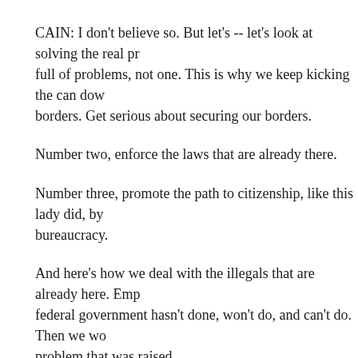CAIN: I don't believe so. But let's -- let's look at solving the real pr- full of problems, not one. This is why we keep kicking the can dow- borders. Get serious about securing our borders.
Number two, enforce the laws that are already there.
Number three, promote the path to citizenship, like this lady did, by- bureaucracy.
And here's how we deal with the illegals that are already here. Emp- federal government hasn't done, won't do, and can't do. Then we wo- problem that was raised.
We are a compassionate nation. Of course they're going to get care.